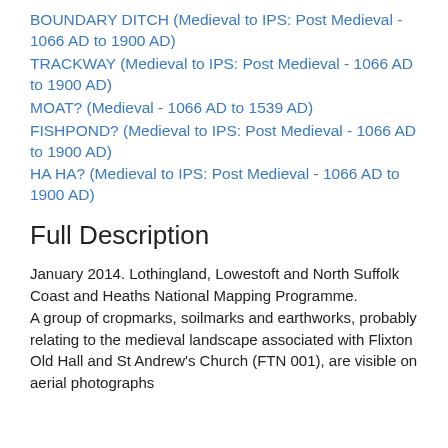BOUNDARY DITCH (Medieval to IPS: Post Medieval - 1066 AD to 1900 AD)
TRACKWAY (Medieval to IPS: Post Medieval - 1066 AD to 1900 AD)
MOAT? (Medieval - 1066 AD to 1539 AD)
FISHPOND? (Medieval to IPS: Post Medieval - 1066 AD to 1900 AD)
HA HA? (Medieval to IPS: Post Medieval - 1066 AD to 1900 AD)
Full Description
January 2014. Lothingland, Lowestoft and North Suffolk Coast and Heaths National Mapping Programme.
A group of cropmarks, soilmarks and earthworks, probably relating to the medieval landscape associated with Flixton Old Hall and St Andrew's Church (FTN 001), are visible on aerial photographs